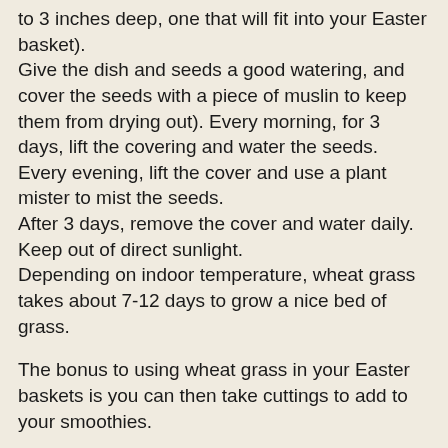to 3 inches deep, one that will fit into your Easter basket). Give the dish and seeds a good watering, and cover the seeds with a piece of muslin to keep them from drying out). Every morning, for 3 days, lift the covering and water the seeds. Every evening, lift the cover and use a plant mister to mist the seeds. After 3 days, remove the cover and water daily. Keep out of direct sunlight. Depending on indoor temperature, wheat grass takes about 7-12 days to grow a nice bed of grass.
The bonus to using wheat grass in your Easter baskets is you can then take cuttings to add to your smoothies.
So, I did get most of my to-do's done for yesterday, even if the day wasn't one of my best. And I do feel good about that. How about you? How do you keep yourself from succumbing to horrendous pity when disasters keep popping up and you're the one who has to take care of them?